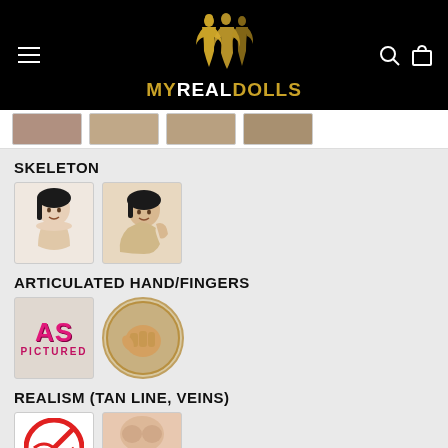[Figure (logo): MyRealDolls logo with golden silhouette figures and text on black background]
[Figure (photo): Row of four small product thumbnail images]
SKELETON
[Figure (photo): Two skeleton option thumbnails showing doll head/upper body]
ARTICULATED HAND/FINGERS
[Figure (photo): Two hand/finger option thumbnails: AS PICTURED badge and articulated hand circle image]
REALISM (TAN LINE, VEINS)
[Figure (photo): Two realism option thumbnails: no-symbol badge and body torso photo]
[Figure (logo): TrustedSite badge with green checkmark]